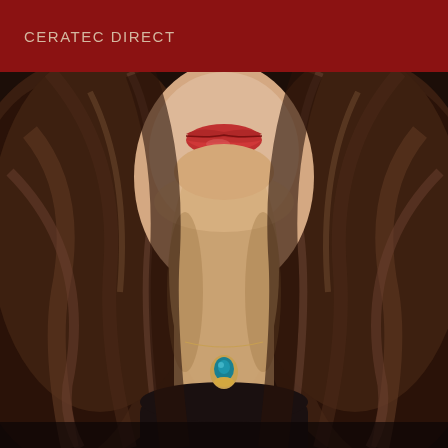CERATEC DIRECT
[Figure (photo): Close-up photo of a woman with long, dark wavy brown hair. Her face is partially visible showing her lower face with red lips. She is wearing a teal/blue teardrop-shaped gemstone pendant necklace on a fine chain. The hair frames both sides of the image. Background is dark.]